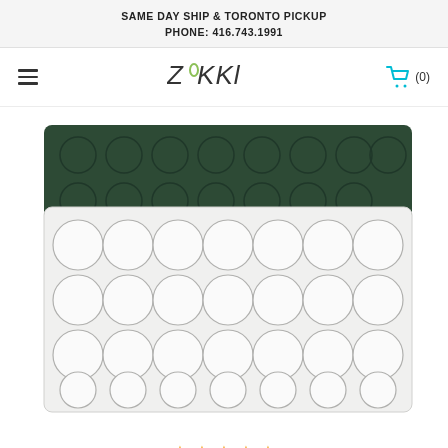SAME DAY SHIP & TORONTO PICKUP
PHONE: 416.743.1991
[Figure (logo): ZAKKL brand logo with stylized text]
[Figure (photo): Product photo showing two jewelry display trays — one dark green velvet with circular indentations and one white with circular indentations arranged in a grid, used for displaying coins or gems]
[Figure (other): Star rating row showing approximately 4.5 out of 5 stars in orange/gold color]